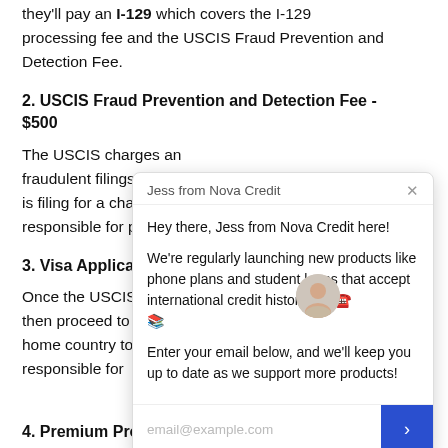they'll pay an I-129 which covers the I-129 processing fee and the USCIS Fraud Prevention and Detection Fee.
2. USCIS Fraud Prevention and Detection Fee - $500
The USCIS charges an additional fee to help prevent fraudulent filings for is filing for a change of responsible for payin
3. Visa Application Fe
Once the USCIS appro then proceed to the U home country to appl responsible for n
4. Premium Processi
There is no specific restriction as to who is responsible for paying this fee.
[Figure (screenshot): Chat popup from Jess from Nova Credit. Header says 'Jess from Nova Credit' with X close button. Body text: 'Hey there, Jess from Nova Credit here! We're regularly launching new products like phone plans and student loans that accept international credit history. 🚀 ☎️ 📚 Enter your email below, and we'll keep you up to date as we support more products!' Footer has email input placeholder 'email@example.com' and a blue arrow send button.]